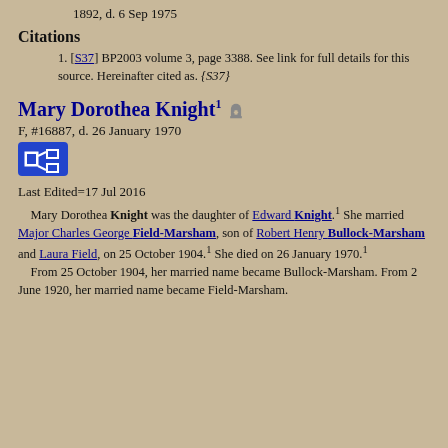1892, d. 6 Sep 1975
Citations
[S37] BP2003 volume 3, page 3388. See link for full details for this source. Hereinafter cited as. {S37}
Mary Dorothea Knight¹
F, #16887, d. 26 January 1970
Last Edited=17 Jul 2016
Mary Dorothea Knight was the daughter of Edward Knight.¹ She married Major Charles George Field-Marsham, son of Robert Henry Bullock-Marsham and Laura Field, on 25 October 1904.¹ She died on 26 January 1970.¹ From 25 October 1904, her married name became Bullock-Marsham. From 2 June 1920, her married name became Field-Marsham.